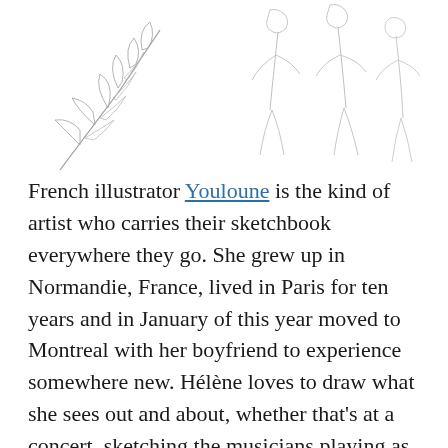[Figure (illustration): Line drawings of botanical and figure sketches — a floral/leaf branch on the left and stylized human figure outlines on the right, all in light pencil/ink style on white background]
French illustrator Youloune is the kind of artist who carries their sketchbook everywhere they go. She grew up in Normandie, France, lived in Paris for ten years and in January of this year moved to Montreal with her boyfriend to experience somewhere new. Hélène loves to draw what she sees out and about, whether that's at a concert, sketching the musicians playing as her pencil follows the drum rhythms, or details in jewelry, sculptures, and embroidery shown in museums she often visits. Her illustrations are mesmerizing as she draws as if she is pulling thread from a spool to make